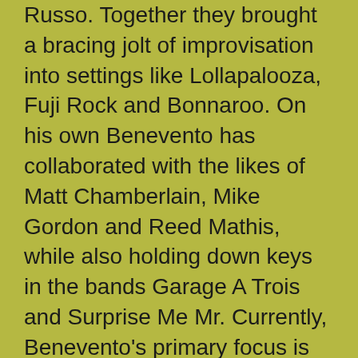Russo. Together they brought a bracing jolt of improvisation into settings like Lollapalooza, Fuji Rock and Bonnaroo. On his own Benevento has collaborated with the likes of Matt Chamberlain, Mike Gordon and Reed Mathis, while also holding down keys in the bands Garage A Trois and Surprise Me Mr. Currently, Benevento's primary focus is with his own trio and in the solo piano setting.
For more information on Marco Benevento, you can visit him at the following websites. Freaking At The Freakers' Ball - + 3. Twin Killers 4. Fire Eater 5. Banter - calling out Krasno / tuning 7.
Funky Miracle ^ 8. Mephisto ^ 9. Windjammer ^ 10. Little Wing ^#@ 11. Scratchitti ^@ 12.
Marco Benevento Live At Tonic Rar download free. Download Marco Benevento - Live at Tonic (2007). (including the ability to automatically extract and draw. Is there a totally free program to 'un-RAR' a file? But it needs an un-rar program to extract it. There is 7Zip which can decompress RAR files, though it appears